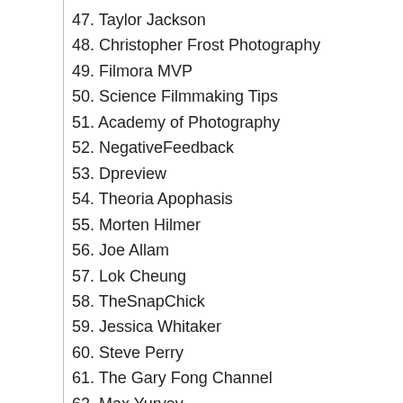47. Taylor Jackson
48. Christopher Frost Photography
49. Filmora MVP
50. Science Filmmaking Tips
51. Academy of Photography
52. NegativeFeedback
53. Dpreview
54. Theoria Apophasis
55. Morten Hilmer
56. Joe Allam
57. Lok Cheung
58. TheSnapChick
59. Jessica Whitaker
60. Steve Perry
61. The Gary Fong Channel
62. Max Yuryev
63. Evan Ranft
64. Jason Vong
65. Nigel Danson